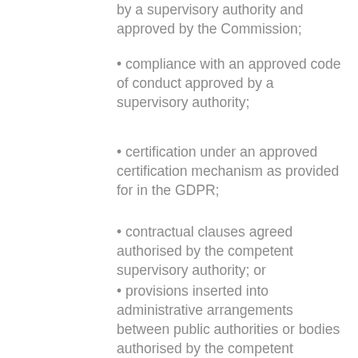by a supervisory authority and approved by the Commission;
• compliance with an approved code of conduct approved by a supervisory authority;
• certification under an approved certification mechanism as provided for in the GDPR;
• contractual clauses agreed authorised by the competent supervisory authority; or
• provisions inserted into administrative arrangements between public authorities or bodies authorised by the competent supervisory authority.
Policy requirements:
21. Requests for international transfer of data must be submitted to the DCO.